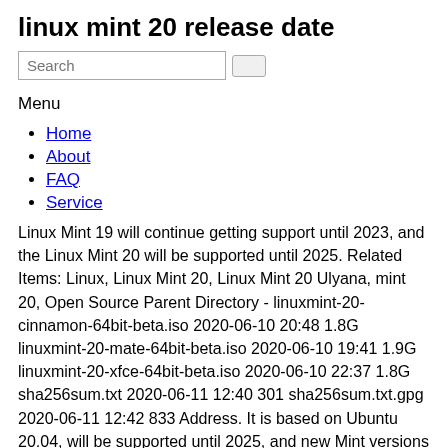linux mint 20 release date
[Figure (other): Search input box with a small button]
Menu
Home
About
FAQ
Service
Linux Mint 19 will continue getting support until 2023, and the Linux Mint 20 will be supported until 2025. Related Items: Linux, Linux Mint 20, Linux Mint 20 Ulyana, mint 20, Open Source Parent Directory - linuxmint-20-cinnamon-64bit-beta.iso 2020-06-10 20:48 1.8G linuxmint-20-mate-64bit-beta.iso 2020-06-10 19:41 1.9G linuxmint-20-xfce-64bit-beta.iso 2020-06-10 22:37 1.8G sha256sum.txt 2020-06-11 12:40 301 sha256sum.txt.gpg 2020-06-11 12:42 833 Address. It is based on Ubuntu 20.04, will be supported until 2025, and new Mint versions will use the same package base until 2022. 2020-05-23 10:54:03. Mint 20 also comes with the ability change monitor refresh rate through an easily-accessible display setting (something Ubuntu 20.04 offers too). Linux Mint 20: New features, Release date, and more. The Linux